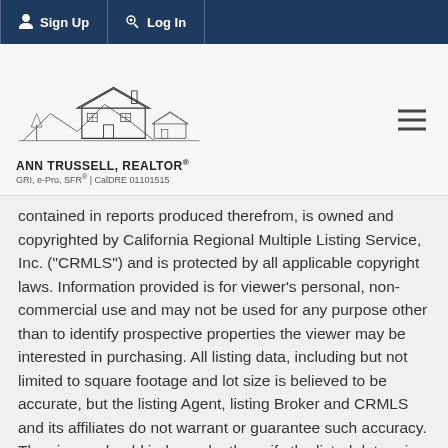Sign Up  Log In
[Figure (logo): Ann Trussell Realtor logo with house illustration. Text: ANN TRUSSELL, REALTOR® GRI, e-Pro, SFR® | CalDRE 01101515]
contained in reports produced therefrom, is owned and copyrighted by California Regional Multiple Listing Service, Inc. ("CRMLS") and is protected by all applicable copyright laws. Information provided is for viewer's personal, non-commercial use and may not be used for any purpose other than to identify prospective properties the viewer may be interested in purchasing. All listing data, including but not limited to square footage and lot size is believed to be accurate, but the listing Agent, listing Broker and CRMLS and its affiliates do not warrant or guarantee such accuracy. The viewer should independently verify the listed data prior to making any decisions based on such information by personal inspection and/or contacting a real estate professional.